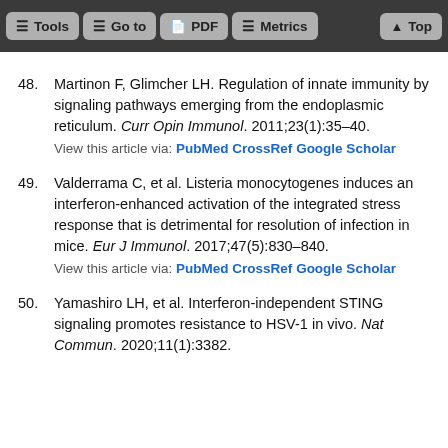Tools | Go to | PDF | Metrics | Top
48. Martinon F, Glimcher LH. Regulation of innate immunity by signaling pathways emerging from the endoplasmic reticulum. Curr Opin Immunol. 2011;23(1):35–40. View this article via: PubMed CrossRef Google Scholar
49. Valderrama C, et al. Listeria monocytogenes induces an interferon-enhanced activation of the integrated stress response that is detrimental for resolution of infection in mice. Eur J Immunol. 2017;47(5):830–840. View this article via: PubMed CrossRef Google Scholar
50. Yamashiro LH, et al. Interferon-independent STING signaling promotes resistance to HSV-1 in vivo. Nat Commun. 2020;11(1):3382.